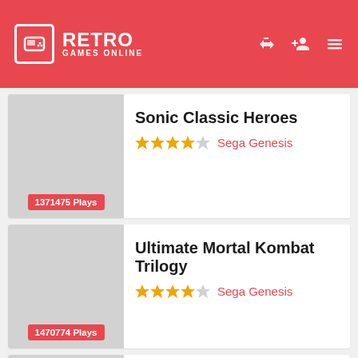RETRO GAMES ONLINE
Sonic Classic Heroes — Sega Genesis — 1371475 Plays
Ultimate Mortal Kombat Trilogy — Sega Genesis — 1470774 Plays
Mega Man 2 — Nintendo NES — 1440703 Plays
Kirby's Adventure (partial, cut off)